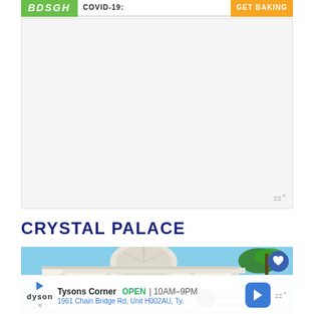[Figure (screenshot): Top advertisement banner with green logo area showing 'BDSGH', COVID-19 text in middle, and orange 'GET BAKING' button on right]
[Figure (photo): White space / ad placeholder area with light gray background]
CRYSTAL PALACE
[Figure (photo): Exterior photo of Crystal Palace restaurant at Disney World showing ornate white Victorian architecture with glass dome, Crystal Palace sign, blue sky, and palm trees. Has heart/favorite button (1.2K), share button, and 'What's Next: Animal Kingdom...' panel overlay.]
[Figure (screenshot): Bottom advertisement for Dyson at Tysons Corner: OPEN 10AM-9PM, 1961 Chain Bridge Rd, Unit H002AU, Ty. with navigation arrow icon]